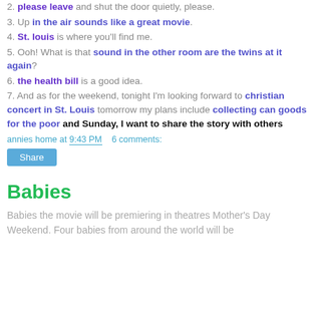2. please leave and shut the door quietly, please.
3. Up in the air sounds like a great movie.
4. St. louis is where you'll find me.
5. Ooh! What is that sound in the other room are the twins at it again?
6. the health bill is a good idea.
7. And as for the weekend, tonight I'm looking forward to christian concert in St. Louis tomorrow my plans include collecting can goods for the poor and Sunday, I want to share the story with others
annies home at 9:43 PM    6 comments:
Share
Babies
Babies the movie will be premiering in theatres Mother's Day Weekend. Four babies from around the world will be featured in this movie for their lives among and for the...